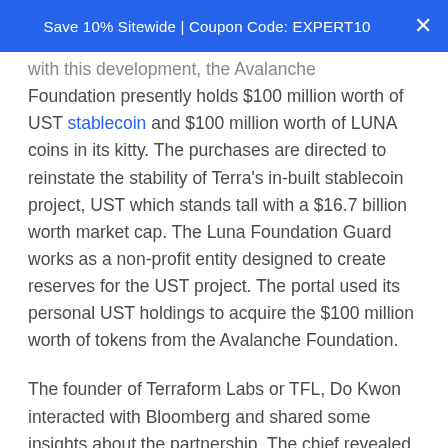Save 10% Sitewide | Coupon Code: EXPERT10
with this development, the Avalanche Foundation presently holds $100 million worth of UST stablecoin and $100 million worth of LUNA coins in its kitty. The purchases are directed to reinstate the stability of Terra's in-built stablecoin project, UST which stands tall with a $16.7 billion worth market cap. The Luna Foundation Guard works as a non-profit entity designed to create reserves for the UST project. The portal used its personal UST holdings to acquire the $100 million worth of tokens from the Avalanche Foundation.
The founder of Terraform Labs or TFL, Do Kwon interacted with Bloomberg and shared some insights about the partnership. The chief revealed that LFG chose AVAX because of its strong presence in the fast-developing global